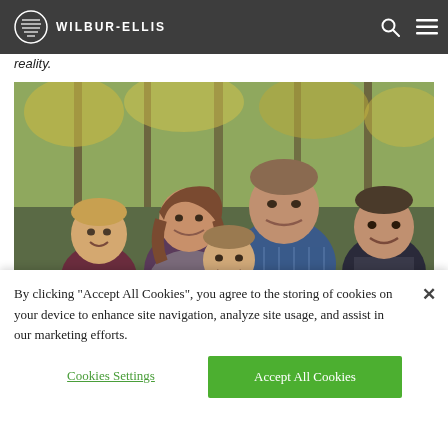WILBUR-ELLIS
reality.
[Figure (photo): Family portrait of a man, woman, and three boys posing outdoors in front of autumn trees with yellow and green foliage.]
By clicking “Accept All Cookies”, you agree to the storing of cookies on your device to enhance site navigation, analyze site usage, and assist in our marketing efforts.
Cookies Settings
Accept All Cookies